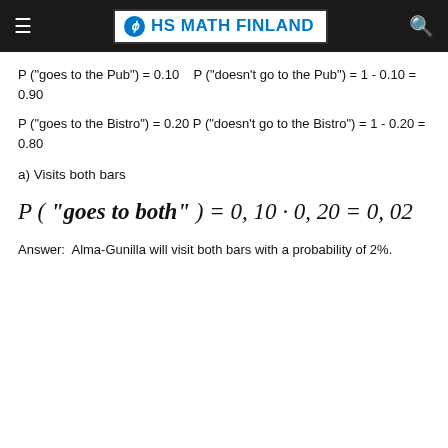HS MATH FINLAND
P ("goes to the Pub") = 0.10   P ("doesn't go to the Pub") = 1 - 0.10 = 0.90
P ("goes to the Bistro") = 0.20 P ("doesn't go to the Bistro") = 1 - 0.20 = 0.80
a) Visits both bars
Answer:  Alma-Gunilla will visit both bars with a probability of 2%.